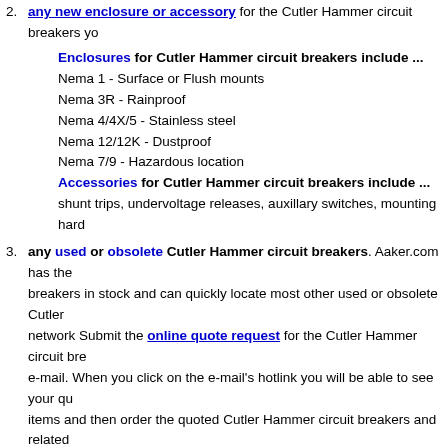2. any new enclosure or accessory for the Cutler Hammer circuit breakers you
Enclosures for Cutler Hammer circuit breakers include ...
Nema 1 - Surface or Flush mounts
Nema 3R - Rainproof
Nema 4/4X/5 - Stainless steel
Nema 12/12K - Dustproof
Nema 7/9 - Hazardous location
Accessories for Cutler Hammer circuit breakers include ...
shunt trips, undervoltage releases, auxillary switches, mounting hard
3. any used or obsolete Cutler Hammer circuit breakers. Aaker.com has the breakers in stock and can quickly locate most other used or obsolete Cutler network Submit the online quote request for the Cutler Hammer circuit bre e-mail. When you click on the e-mail's hotlink you will be able to see your qu items and then order the quoted Cutler Hammer circuit breakers and related
OTHER ONLINE BENEFITS
Aaker.com almost always offers you the lowest online prices for new Cutler Hamme used and obsolete Cutler Hammer circuit breakers. When you order a Cutler Hamm by our ...
• 40 years of experience with Cutler Hammer circuit breakers
• 2% internet discount off all Cutler Hammer circuit breakers
• free delivery of your Cutler Hammer circuit breakers by UPS Ground anyw
• 30-day return policy for all Cutler Hammer circuit breakers
• one-year limited warranty against product failure for all Cutler Hammer ci
• $5 million of product liability coverage for all Cutler Hammer circuit brea
We provide you with ...
• the greatest flexibility